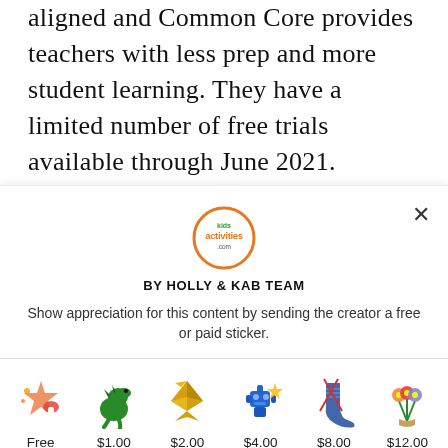aligned and Common Core provides teachers with less prep and more student learning. They have a limited number of free trials available through June 2021.
[Figure (logo): Kids Activities .com circular logo with orange border and colorful text]
BY HOLLY & KAB TEAM
Show appreciation for this content by sending the creator a free or paid sticker.
[Figure (illustration): Six sticker icons in a row: Free (star/mushroom), $1.00 (green dinosaur), $2.00 (gold origami crane), $4.00 (blue robot), $8.00 (knitted sock), $12.00 (flower bouquet)]